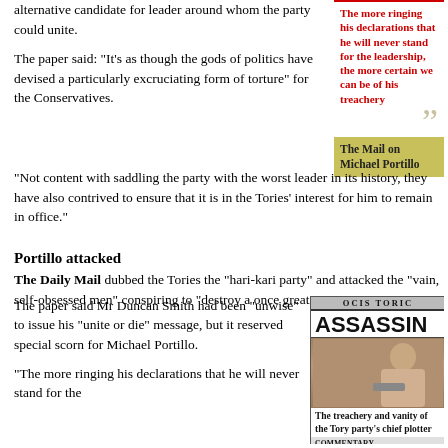alternative candidate for leader around whom the party could unite.
The paper said: "It's as though the gods of politics have devised a particularly excruciating form of torture" for the Conservatives.
[Figure (other): Pull quote box with red text: 'The more ringing his declarations that he will never stand for the leadership, the more certain we can be of his treachery' with closing quotation mark, followed by olive/yellow attribution box reading 'The Mail on Michael Portillo']
"Not content with saddling the party with the worst leader in its history, they have also contrived to ensure that it is in the Tories' interest for him to remain in office."
Portillo attacked
The Daily Mail dubbed the Tories the "hari-kari party" and attacked the "vain, self-obsessed men" conspiring to "destroy a once great movement".
The paper said Mr Duncan Smith had been "unwise" to issue his "unite or die" message, but it reserved special scorn for Michael Portillo.
[Figure (photo): Newspaper front page image showing the headline 'ASSASSIN' with subtext 'The treachery and vanity of the Tory party's chief plotter' and a photo of Michael Portillo. Shows masthead text 'OCIS TORIC' and 'COMMENTARY' at bottom.]
"The more ringing his declarations that he will never stand for the